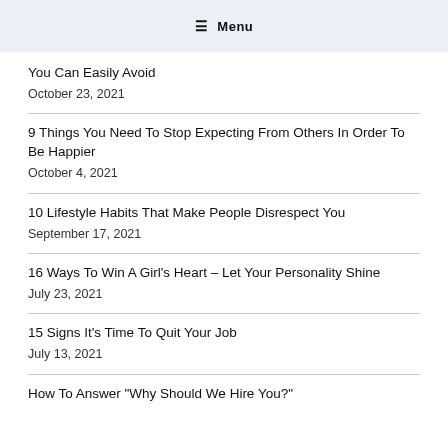≡ Menu
You Can Easily Avoid
October 23, 2021
9 Things You Need To Stop Expecting From Others In Order To Be Happier
October 4, 2021
10 Lifestyle Habits That Make People Disrespect You
September 17, 2021
16 Ways To Win A Girl's Heart – Let Your Personality Shine
July 23, 2021
15 Signs It's Time To Quit Your Job
July 13, 2021
How To Answer "Why Should We Hire You?"